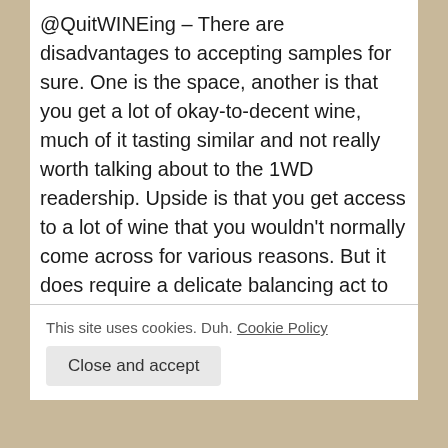@QuitWINEing – There are disadvantages to accepting samples for sure. One is the space, another is that you get a lot of okay-to-decent wine, much of it tasting similar and not really worth talking about to the 1WD readership. Upside is that you get access to a lot of wine that you wouldn't normally come across for various reasons. But it does require a delicate balancing act to and a TON of transparency about what you are doing so that you are not perceived (fairly or unfairly) as a shill. I am cool with being transparent so no worries there, but for more private people it could be a BIG...
This site uses cookies. Duh. Cookie Policy
Close and accept